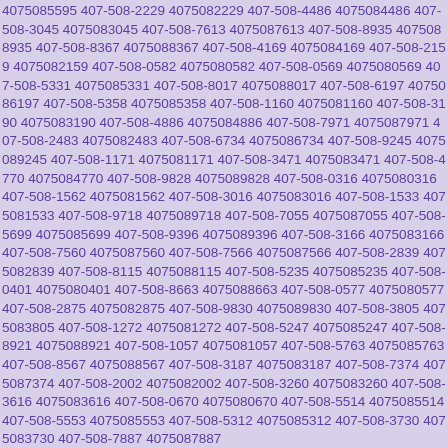4075085595 407-508-2229 4075082229 407-508-4486 4075084486 407-508-3045 4075083045 407-508-7613 4075087613 407-508-8935 4075088935 407-508-8367 4075088367 407-508-4169 4075084169 407-508-2159 4075082159 407-508-0582 4075080582 407-508-0569 4075080569 407-508-5331 4075085331 407-508-8017 4075088017 407-508-6197 4075086197 407-508-5358 4075085358 407-508-1160 4075081160 407-508-3190 4075083190 407-508-4886 4075084886 407-508-7971 4075087971 407-508-2483 4075082483 407-508-6734 4075086734 407-508-9245 4075089245 407-508-1171 4075081171 407-508-3471 4075083471 407-508-4770 4075084770 407-508-9828 4075089828 407-508-0316 4075080316 407-508-1562 4075081562 407-508-3016 4075083016 407-508-1533 4075081533 407-508-9718 4075089718 407-508-7055 4075087055 407-508-5699 4075085699 407-508-9396 4075089396 407-508-3166 4075083166 407-508-7560 4075087560 407-508-7566 4075087566 407-508-2839 4075082839 407-508-8115 4075088115 407-508-5235 4075085235 407-508-0401 4075080401 407-508-8663 4075088663 407-508-0577 4075080577 407-508-2875 4075082875 407-508-9830 4075089830 407-508-3805 4075083805 407-508-1272 4075081272 407-508-5247 4075085247 407-508-8921 4075088921 407-508-1057 4075081057 407-508-5763 4075085763 407-508-8567 4075088567 407-508-3187 4075083187 407-508-7374 4075087374 407-508-2002 4075082002 407-508-3260 4075083260 407-508-3616 4075083616 407-508-0670 4075080670 407-508-5514 4075085514 407-508-5553 4075085553 407-508-5312 4075085312 407-508-3730 4075083730 407-508-7887 4075087887